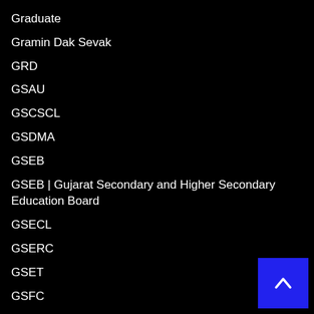Graduate
Gramin Dak Sevak
GRD
GSAU
GSCSCL
GSDMA
GSEB
GSEB | Gujarat Secondary and Higher Secondary Education Board
GSECL
GSERC
GSET
GSFC
GSFCL
GSFDC
GSPHC | Gujarat State Police Housing